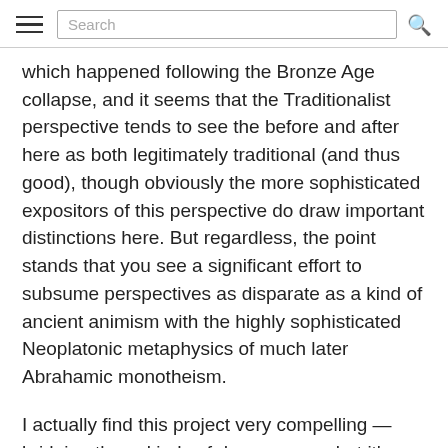Search
which happened following the Bronze Age collapse, and it seems that the Traditionalist perspective tends to see the before and after here as both legitimately traditional (and thus good), though obviously the more sophisticated expositors of this perspective do draw important distinctions here. But regardless, the point stands that you see a significant effort to subsume perspectives as disparate as a kind of ancient animism with the highly sophisticated Neoplatonic metaphysics of much later Abrahamic monotheism.
I actually find this project very compelling — bridging these kinds of deep gaps — but it's tiring to see such sophistication in this area, and then when it comes to analyzing Modernity, you find very essentializing methods which paper over complex and disparate